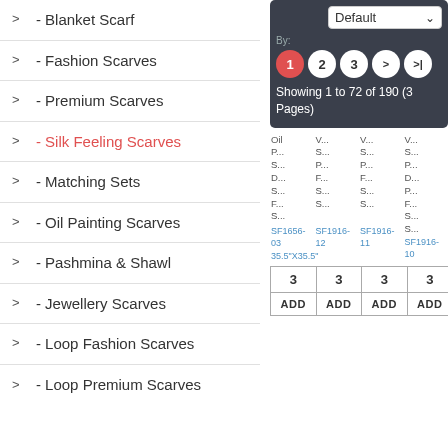> - Blanket Scarf
> - Fashion Scarves
> - Premium Scarves
> - Silk Feeling Scarves
> - Matching Sets
> - Oil Painting Scarves
> - Pashmina & Shawl
> - Jewellery Scarves
> - Loop Fashion Scarves
> - Loop Premium Scarves
[Figure (screenshot): E-commerce navigation screenshot showing sort dropdown set to Default, pagination with pages 1 (active/red), 2, 3, > and >|, showing 1 to 72 of 190 (3 Pages), product listing thumbnails with truncated product names and IDs SF1656-03 35.5X35.5, SF1916-12, SF1916-11, SF1916-10, and add to cart rows with quantity 3 and ADD buttons]